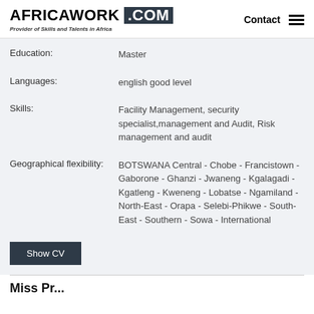AFRICAWORK .COM Provider of Skills and Talents in Africa Contact
Education: Master
Languages: english good level
Skills: Facility Management, security specialist,management and Audit, Risk management and audit
Geographical flexibility: BOTSWANA Central - Chobe - Francistown - Gaborone - Ghanzi - Jwaneng - Kgalagadi - Kgatleng - Kweneng - Lobatse - Ngamiland - North-East - Orapa - Selebi-Phikwe - South-East - Southern - Sowa - International
Show CV
Miss Pr...